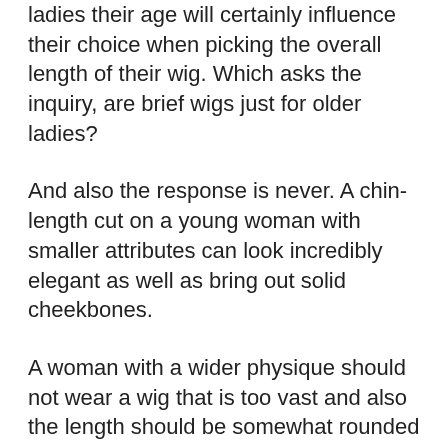ladies their age will certainly influence their choice when picking the overall length of their wig. Which asks the inquiry, are brief wigs just for older ladies?
And also the response is never. A chin-length cut on a young woman with smaller attributes can look incredibly elegant as well as bring out solid cheekbones.
A woman with a wider physique should not wear a wig that is too vast and also the length should be somewhat rounded in the back and a little listed below shoulder overall length.
For tiny females, we usually recommend a lighter, much shorter wig rather than something long and also heavy to make sure that she does